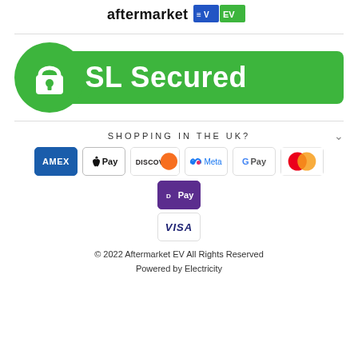[Figure (logo): aftermarket EV logo with text and colored badge icons]
[Figure (infographic): SSL Secured badge - green circle with padlock icon and green banner with white text 'SSL Secured']
SHOPPING IN THE UK?
[Figure (infographic): Payment method icons: AMEX, Apple Pay, Discover, Meta, G Pay, Mastercard, DPay, VISA]
© 2022 Aftermarket EV All Rights Reserved
Powered by Electricity